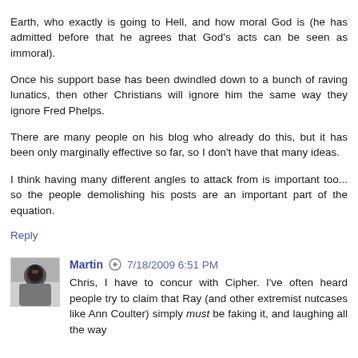Earth, who exactly is going to Hell, and how moral God is (he has admitted before that he agrees that God's acts can be seen as immoral).
Once his support base has been dwindled down to a bunch of raving lunatics, then other Christians will ignore him the same way they ignore Fred Phelps.
There are many people on his blog who already do this, but it has been only marginally effective so far, so I don't have that many ideas.
I think having many different angles to attack from is important too... so the people demolishing his posts are an important part of the equation.
Reply
Martin  7/18/2009 6:51 PM
Chris, I have to concur with Cipher. I've often heard people try to claim that Ray (and other extremist nutcases like Ann Coulter) simply must be faking it, and laughing all the way